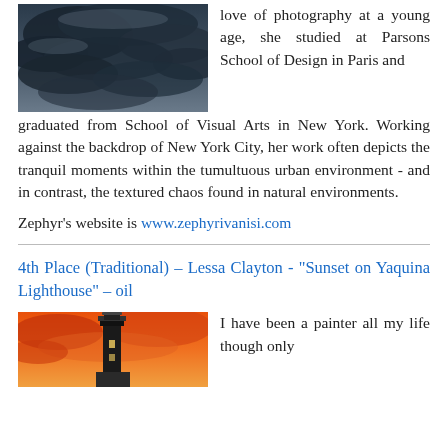[Figure (photo): Dark stormy clouds photograph]
love of photography at a young age, she studied at Parsons School of Design in Paris and graduated from School of Visual Arts in New York. Working against the backdrop of New York City, her work often depicts the tranquil moments within the tumultuous urban environment - and in contrast, the textured chaos found in natural environments.
Zephyr's website is www.zephyrivanisi.com
4th Place (Traditional) – Lessa Clayton - "Sunset on Yaquina Lighthouse" – oil
[Figure (photo): Painting of Yaquina lighthouse at sunset with orange and red sky]
I have been a painter all my life though only